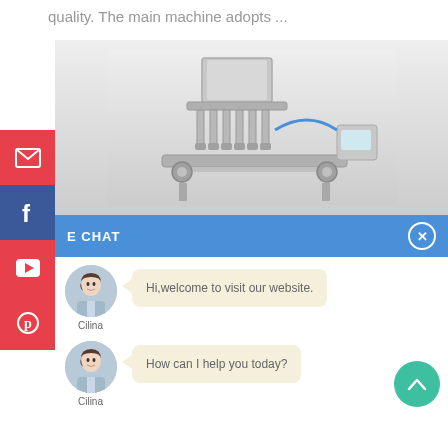quality. The main machine adopts ...
[Figure (photo): Industrial filling machine with multiple nozzles on a conveyor system, shown against a light grey gradient background.]
E CHAT
[Figure (screenshot): Live chat widget showing two messages from agent 'Cilina'. First message: 'Hi,welcome to visit our website.' Second message: 'How can I help you today?' with a scroll-up button.]
Hi,welcome to visit our website.
Cilina
How can I help you today?
Cilina